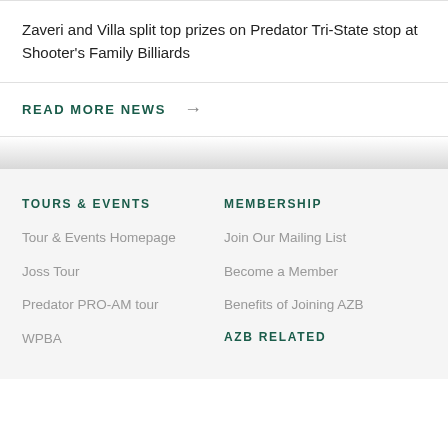Zaveri and Villa split top prizes on Predator Tri-State stop at Shooter's Family Billiards
READ MORE NEWS →
TOURS & EVENTS
MEMBERSHIP
Tour & Events Homepage
Join Our Mailing List
Joss Tour
Become a Member
Predator PRO-AM tour
Benefits of Joining AZB
WPBA
AZB RELATED